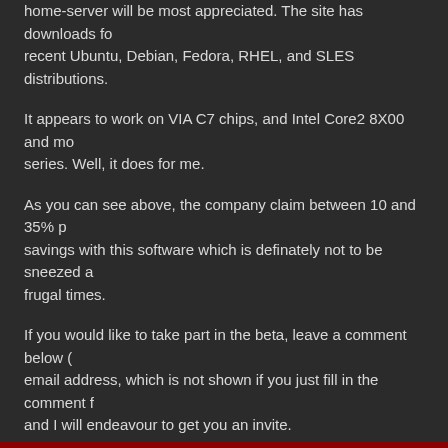home-server will be most appreciated. The site has downloads for recent Ubuntu, Debian, Fedora, RHEL, and SLES distributions.
It appears to work on VIA C7 chips, and Intel Core2 8X00 and mob series. Well, it does for me.
As you can see above, the company claim between 10 and 35% p savings with this software which is definately not to be sneezed at frugal times.
If you would like to take part in the beta, leave a comment below ( email address, which is not shown if you just fill in the comment fo and I will endeavour to get you an invite.
Share:
Email  LinkedIn  Twitter  Facebook
May 13th, 2009 | Alan Lord | Tags: Alan Pope, Fedora, Linux, Miserware, Suse, Ubuntu Categories: FLOSS in the news, Personal Stuff | Comments: 59 Comments